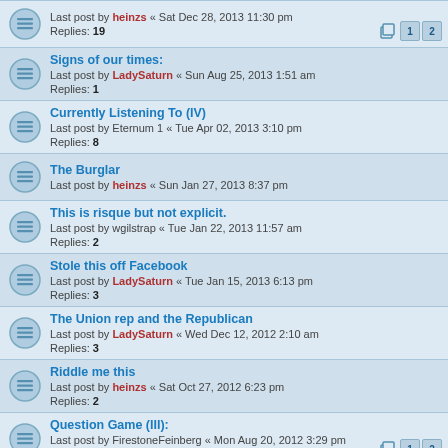Last post by heinzs « Sat Dec 28, 2013 11:30 pm
Replies: 19
Signs of our times:
Last post by LadySaturn « Sun Aug 25, 2013 1:51 am
Replies: 1
Currently Listening To (IV)
Last post by Eternum 1 « Tue Apr 02, 2013 3:10 pm
Replies: 8
The Burglar
Last post by heinzs « Sun Jan 27, 2013 8:37 pm
This is risque but not explicit.
Last post by wgilstrap « Tue Jan 22, 2013 11:57 am
Replies: 2
Stole this off Facebook
Last post by LadySaturn « Tue Jan 15, 2013 6:13 pm
Replies: 3
The Union rep and the Republican
Last post by LadySaturn « Wed Dec 12, 2012 2:10 am
Replies: 3
Riddle me this
Last post by heinzs « Sat Oct 27, 2012 6:23 pm
Replies: 2
Question Game (III):
Last post by FirestoneFeinberg « Mon Aug 20, 2012 3:29 pm
Replies: 19
Joke: Just a Tap
Last post by Eternum 1 « Mon Aug 06, 2012 12:02 pm
Replies: 2
Another Riddle Topic